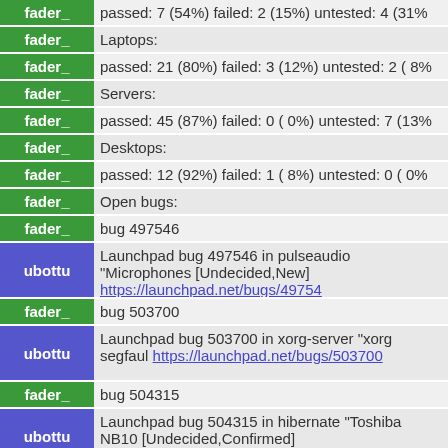| nick | message |
| --- | --- |
| fader_ | passed:  7 (54%)   failed: 2 (15%)   untested: 4 (31%... |
| fader_ | Laptops: |
| fader_ | passed: 21 (80%)   failed: 3 (12%)   untested: 2 ( 8%... |
| fader_ | Servers: |
| fader_ | passed: 45 (87%)   failed: 0 ( 0%)   untested: 7 (13%... |
| fader_ | Desktops: |
| fader_ | passed: 12 (92%)   failed: 1 ( 8%)   untested: 0 ( 0%... |
| fader_ | Open bugs: |
| fader_ | bug 497546 |
| ubottu | Launchpad bug 497546 in pulseaudio "Microphones... [Undecided,New] https://launchpad.net/bugs/49754... |
| fader_ | bug 503700 |
| ubottu | Launchpad bug 503700 in xorg-server "xorg segfaul... https://launchpad.net/bugs/503700 |
| fader_ | bug 504315 |
| ubottu | Launchpad bug 504315 in hibernate "Toshiba NB10... [Undecided,Confirmed] https://launchpad.net/bugs/5... |
| fader_ | We have several untested machines since the holiday... environmental reasons. |
| fader_ | I am working my way through them and getting ther... get through the backlog of them.  They should be al... |
| fader_ | Specs: |